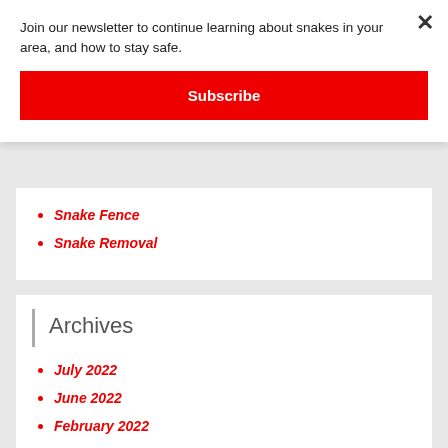Join our newsletter to continue learning about snakes in your area, and how to stay safe.
Subscribe
Snake Fence
Snake Removal
Archives
July 2022
June 2022
February 2022
November 2021